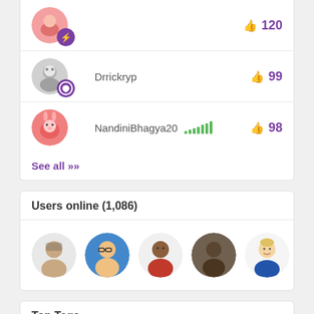Drrickryp — 99 likes
NandiniBhagya20 — 98 likes
See all >>
Users online (1,086)
[Figure (photo): Five circular user avatar photos shown in a row]
Top Tags
PowerApps
SharePoint
Gallery
filter